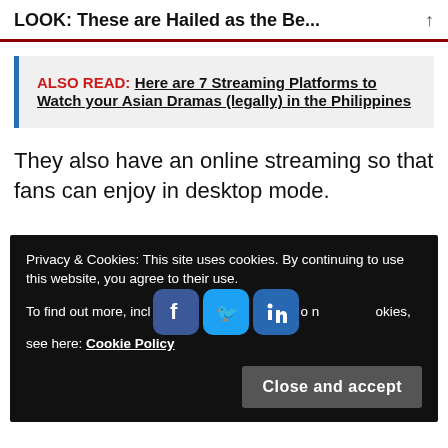LOOK: These are Hailed as the Be...
ALSO READ: Here are 7 Streaming Platforms to Watch your Asian Dramas (legally) in the Philippines
They also have an online streaming so that fans can enjoy in desktop mode.
Privacy & Cookies: This site uses cookies. By continuing to use this website, you agree to their use. To find out more, including how to control cookies, see here: Cookie Policy